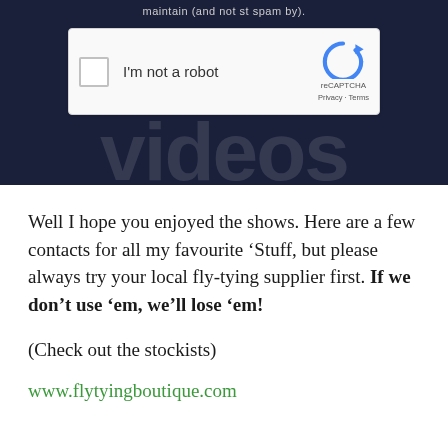[Figure (screenshot): Screenshot of a reCAPTCHA widget ('I'm not a robot' checkbox with reCAPTCHA logo, Privacy and Terms links) overlaid on a dark navy background with large white text behind it. Partial text at top reads truncated heading.]
Well I hope you enjoyed the shows. Here are a few contacts for all my favourite ‘Stuff, but please always try your local fly-tying supplier first. If we don’t use ‘em, we’ll lose ‘em!
(Check out the stockists)
www.flytyingboutique.com